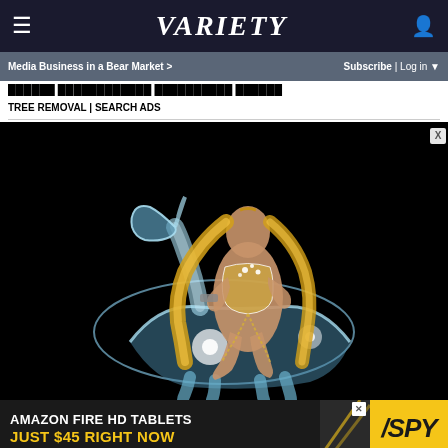VARIETY
Media Business in a Bear Market >
Subscribe | Log in
TREE REMOVAL | SEARCH ADS
[Figure (photo): Beyoncé sitting on a crystal/ice horse sculpture against a black background, wearing a sparkling bodysuit. This is the Renaissance album cover artwork.]
AMAZON FIRE HD TABLETS JUST $45 RIGHT NOW
[Figure (logo): SPY logo in black italic bold text on yellow background]